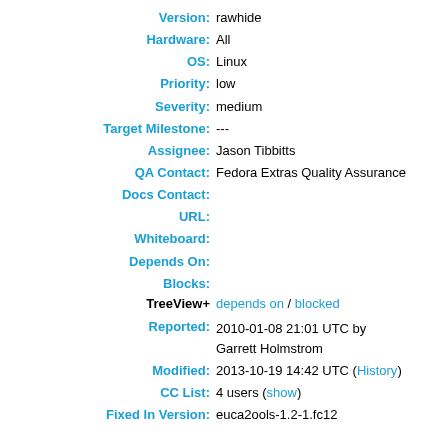Version: rawhide
Hardware: All
OS: Linux
Priority: low
Severity: medium
Target Milestone: ---
Assignee: Jason Tibbitts
QA Contact: Fedora Extras Quality Assurance
Docs Contact:
URL:
Whiteboard:
Depends On:
Blocks:
TreeView+ depends on / blocked
Reported: 2010-01-08 21:01 UTC by Garrett Holmstrom
Modified: 2013-10-19 14:42 UTC (History)
CC List: 4 users (show)
Fixed In Version: euca2ools-1.2-1.fc12